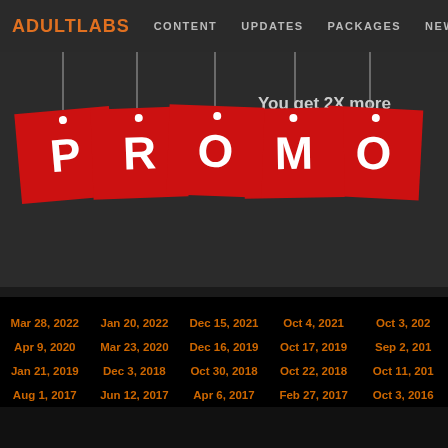ADULTLABS | CONTENT | UPDATES | PACKAGES | NEW FACES | SAL...
[Figure (illustration): Red hanging sale/promo tags spelling out PROMO with string attachments at top, on dark gray background. To the right: text 'You get 2X more', 'Pay with Bitcoin or Ethereum... content from adultlabs)', 'Here is the ways how to buy']
You get 2X more
Pay with Bitcoin or Ethereum... content from adultlabs)
Here is the ways how to buy
| Mar 28, 2022 | Jan 20, 2022 | Dec 15, 2021 | Oct 4, 2021 | Oct 3, 202... |
| Apr 9, 2020 | Mar 23, 2020 | Dec 16, 2019 | Oct 17, 2019 | Sep 2, 201... |
| Jan 21, 2019 | Dec 3, 2018 | Oct 30, 2018 | Oct 22, 2018 | Oct 11, 201... |
| Aug 1, 2017 | Jun 12, 2017 | Apr 6, 2017 | Feb 27, 2017 | Oct 3, 2016 |